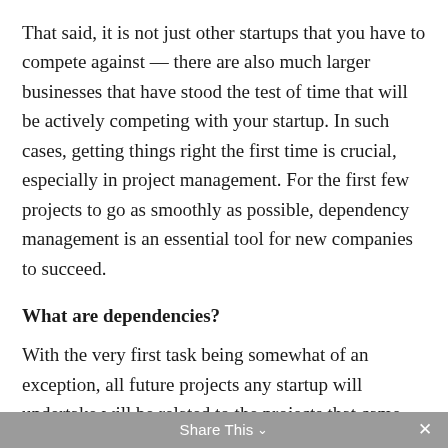That said, it is not just other startups that you have to compete against — there are also much larger businesses that have stood the test of time that will be actively competing with your startup. In such cases, getting things right the first time is crucial, especially in project management. For the first few projects to go as smoothly as possible, dependency management is an essential tool for new companies to succeed.
What are dependencies?
With the very first task being somewhat of an exception, all future projects any startup will undertake will be related to the projects that came before. It can be especially crucial for a contracting business, where there will likely be more than a hundred tasks in any given construction project — with each task being dependent on the other.
Share This ×